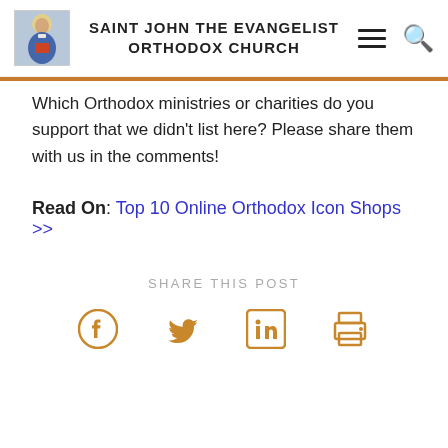SAINT JOHN THE EVANGELIST ORTHODOX CHURCH
Which Orthodox ministries or charities do you support that we didn't list here? Please share them with us in the comments!
Read On: Top 10 Online Orthodox Icon Shops >>
SHARE THIS POST
[Figure (infographic): Social share icons: Facebook, Twitter, LinkedIn, Print — all in golden/amber color]